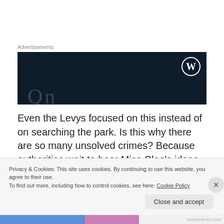Advertisements
[Figure (screenshot): Dark navy advertisement banner with WordPress logo (circle W) in top right and faint decorative letters at bottom]
Even the Levys focused on this instead of on searching the park. Is this why there are so many unsolved crimes? Because authorities wait to hear Miss Cleo's ideas instead of looking themselves? Everyone involved should go their rooms and think
Privacy & Cookies: This site uses cookies. By continuing to use this website, you agree to their use.
To find out more, including how to control cookies, see here: Cookie Policy
Close and accept